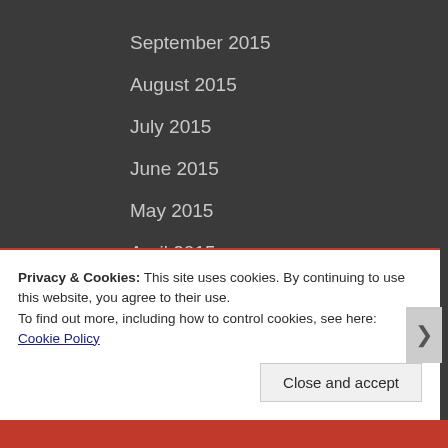September 2015
August 2015
July 2015
June 2015
May 2015
April 2015
March 2015
February 2015
January 2015
Privacy & Cookies: This site uses cookies. By continuing to use this website, you agree to their use.
To find out more, including how to control cookies, see here: Cookie Policy
Close and accept